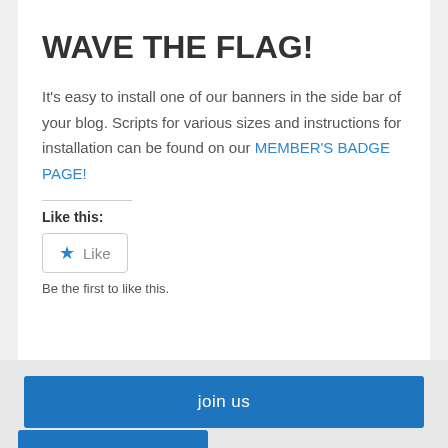WAVE THE FLAG!
It's easy to install one of our banners in the side bar of your blog. Scripts for various sizes and instructions for installation can be found on our MEMBER'S BADGE PAGE!
Like this:
Like
Be the first to like this.
join us